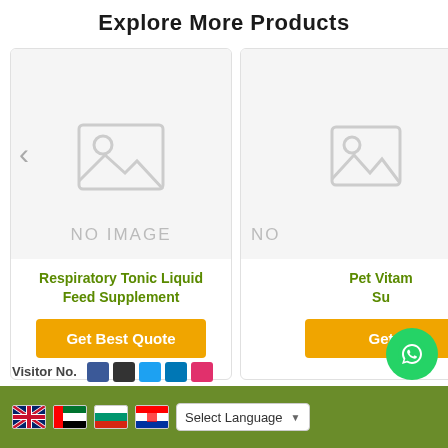Explore More Products
[Figure (illustration): Product card with no image placeholder showing a landscape/photo icon, left arrow navigation, text 'NO IMAGE', product title 'Respiratory Tonic Liquid Feed Supplement', and a golden 'Get Best Quote' button]
[Figure (illustration): Partially visible second product card with no image placeholder, right arrow navigation, text 'NO', partially visible product title 'Pet Vitam... Su...' and partially visible 'Get' button with golden badge]
Select Language | Flag icons for UK, UAE, Bulgaria, Croatia | WhatsApp button | Visitor No. with social media icons